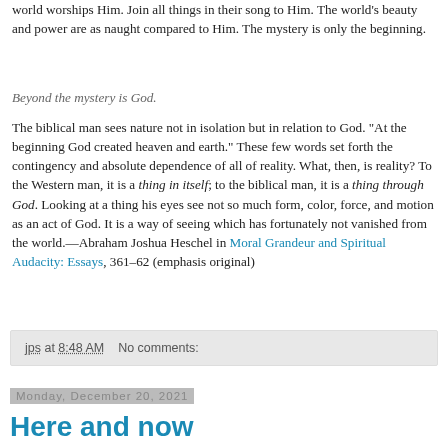world worships Him. Join all things in their song to Him. The world's beauty and power are as naught compared to Him. The mystery is only the beginning.
Beyond the mystery is God.
The biblical man sees nature not in isolation but in relation to God. "At the beginning God created heaven and earth." These few words set forth the contingency and absolute dependence of all of reality. What, then, is reality? To the Western man, it is a thing in itself; to the biblical man, it is a thing through God. Looking at a thing his eyes see not so much form, color, force, and motion as an act of God. It is a way of seeing which has fortunately not vanished from the world.—Abraham Joshua Heschel in Moral Grandeur and Spiritual Audacity: Essays, 361–62 (emphasis original)
jps at 8:48 AM    No comments:
Monday, December 20, 2021
Here and now